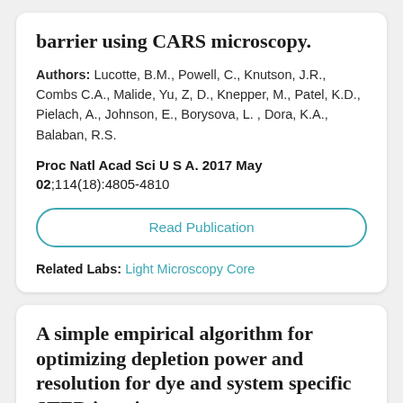barrier using CARS microscopy.
Authors: Lucotte, B.M., Powell, C., Knutson, J.R., Combs C.A., Malide, Yu, Z, D., Knepper, M., Patel, K.D., Pielach, A., Johnson, E., Borysova, L. , Dora, K.A., Balaban, R.S.
Proc Natl Acad Sci U S A. 2017 May 02;114(18):4805-4810
Read Publication
Related Labs: Light Microscopy Core
A simple empirical algorithm for optimizing depletion power and resolution for dye and system specific STED imaging.